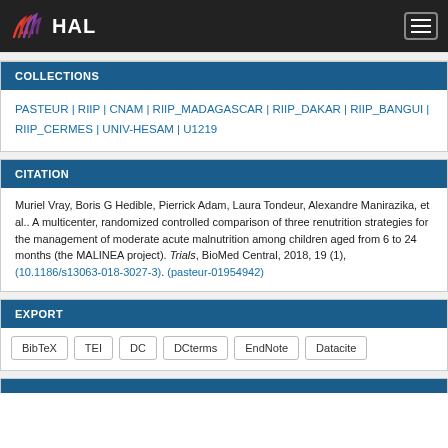HAL
COLLECTIONS
PASTEUR | RIIP | CNAM | RIIP_MADAGASCAR | RIIP_DAKAR | RIIP_BANGUI | RIIP_CERMES | UNIV-HESAM | U1219
CITATION
Muriel Vray, Boris G Hedible, Pierrick Adam, Laura Tondeur, Alexandre Manirazika, et al.. A multicenter, randomized controlled comparison of three renutrition strategies for the management of moderate acute malnutrition among children aged from 6 to 24 months (the MALINEA project). Trials, BioMed Central, 2018, 19 (1), (10.1186/s13063-018-3027-3). (pasteur-01954942)
EXPORT
BibTeX
TEI
DC
DCterms
EndNote
Datacite